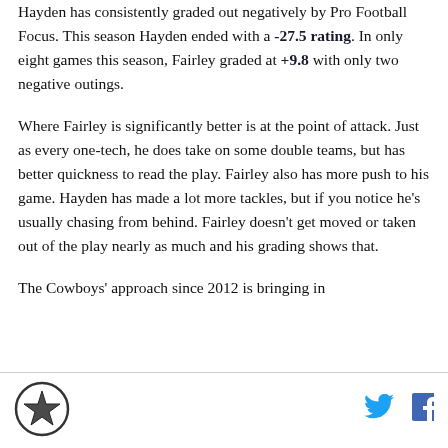Hayden has consistently graded out negatively by Pro Football Focus. This season Hayden ended with a -27.5 rating. In only eight games this season, Fairley graded at +9.8 with only two negative outings.
Where Fairley is significantly better is at the point of attack. Just as every one-tech, he does take on some double teams, but has better quickness to read the play. Fairley also has more push to his game. Hayden has made a lot more tackles, but if you notice he's usually chasing from behind. Fairley doesn't get moved or taken out of the play nearly as much and his grading shows that.
The Cowboys' approach since 2012 is bringing in
[Figure (logo): Dallas Cowboys star logo (circular badge with star)]